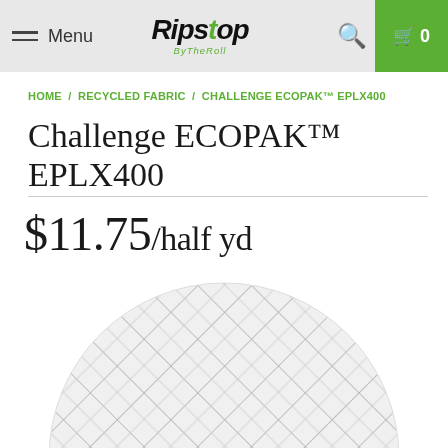Menu | Ripstop By The Roll | Search | Cart 0
HOME / RECYCLED FABRIC / CHALLENGE ECOPAK™ EPLX400
Challenge ECOPAK™ EPLX400
$11.75 /half yd
[Figure (photo): Close-up circular product swatch showing white/light grey ripstop fabric with diagonal grid pattern of grey reinforcement threads]